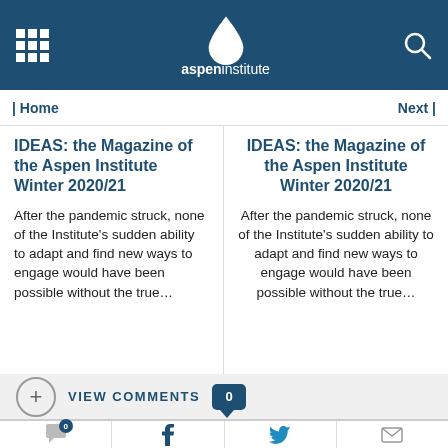aspeninstitute
| Home
Next |
IDEAS: the Magazine of the Aspen Institute Winter 2020/21
IDEAS: the Magazine of the Aspen Institute Winter 2020/21
After the pandemic struck, none of the Institute's sudden ability to adapt and find new ways to engage would have been possible without the true…
After the pandemic struck, none of the Institute's sudden ability to adapt and find new ways to engage would have been possible without the true…
VIEW COMMENTS 0